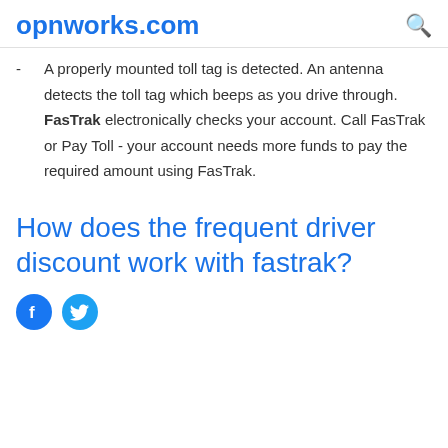opnworks.com
A properly mounted toll tag is detected. An antenna detects the toll tag which beeps as you drive through. FasTrak electronically checks your account. Call FasTrak or Pay Toll - your account needs more funds to pay the required amount using FasTrak.
How does the frequent driver discount work with fastrak?
[Figure (other): Social media share icons: Facebook and Twitter]